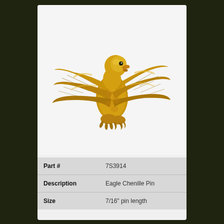[Figure (photo): Gold-colored eagle chenille pin showing an eagle with wings spread, detailed feather texture, facing left, perched on talons. The pin is metallic gold in color against a light gray background.]
| Part # | 7S3914 |
| Description | Eagle Chenille Pin |
| Size | 7/16" pin length |